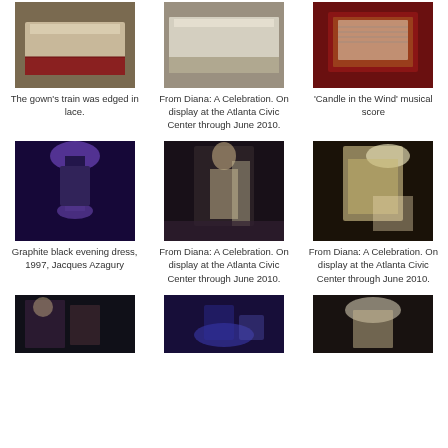[Figure (photo): Photo of a gown's train with lace edging on display]
The gown's train was edged in lace.
[Figure (photo): Photo from Diana: A Celebration exhibition showing a white gown on display at the Atlanta Civic Center]
From Diana: A Celebration. On display at the Atlanta Civic Center through June 2010.
[Figure (photo): Photo showing 'Candle in the Wind' musical score on display with red background]
'Candle in the Wind' musical score
[Figure (photo): Graphite black evening dress on display under purple lighting]
Graphite black evening dress, 1997, Jacques Azagury
[Figure (photo): From Diana: A Celebration exhibition showing outfits on display at the Atlanta Civic Center]
From Diana: A Celebration. On display at the Atlanta Civic Center through June 2010.
[Figure (photo): From Diana: A Celebration exhibition showing a coat and hat on display at the Atlanta Civic Center]
From Diana: A Celebration. On display at the Atlanta Civic Center through June 2010.
[Figure (photo): Dark photo of exhibition display with figures]
[Figure (photo): Blue-lit exhibition hall showing visitors and displays]
[Figure (photo): Photo of a hat on display in the exhibition]